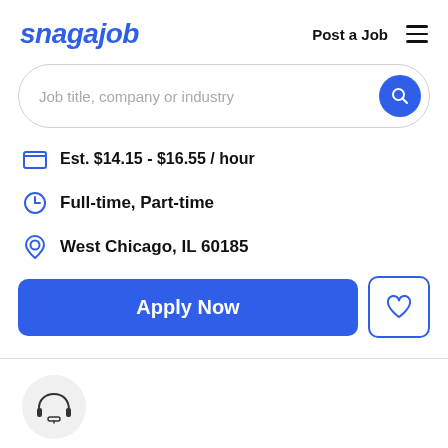[Figure (logo): Snagajob logo in blue italic bold text]
Post a Job
[Figure (other): Hamburger menu icon (three horizontal lines)]
Job title, company or industry
Est. $14.15 - $16.55 / hour
Full-time, Part-time
West Chicago, IL 60185
Apply Now
[Figure (other): Heart/favorite icon button]
[Figure (other): Headset/support icon in a light gray circle]